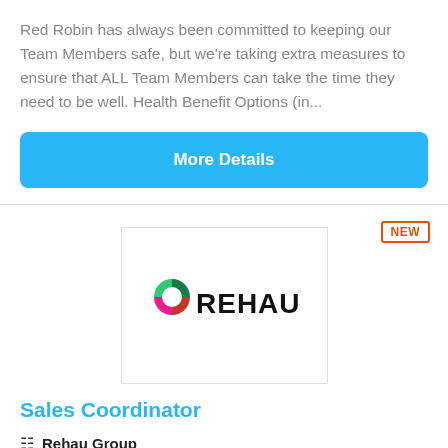Red Robin has always been committed to keeping our Team Members safe, but we're taking extra measures to ensure that ALL Team Members can take the time they need to be well. Health Benefit Options (in...
More Details
[Figure (logo): REHAU company logo with circular multi-colored icon and bold REHAU text]
Sales Coordinator
Rehau Group
Leesburg, VA, US